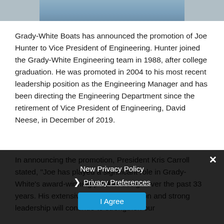[Figure (photo): Partial photo of a person (head/shoulder cropped at top of page), blue background visible]
Grady-White Boats has announced the promotion of Joe Hunter to Vice President of Engineering. Hunter joined the Grady-White Engineering team in 1988, after college graduation. He was promoted in 2004 to his most recent leadership position as the Engineering Manager and has been directing the Engineering Department since the retirement of Vice President of Engineering, David Neese, in December of 2019.
In announcing the promotion, President Kris Carroll stated, "Joe has played a significant role in Grady-White's award-winning product design over the past 33 years. His extensive experience, personali... on and strong leadership will continue to strengthen our
New Privacy Policy
Privacy Preferences
I Agree